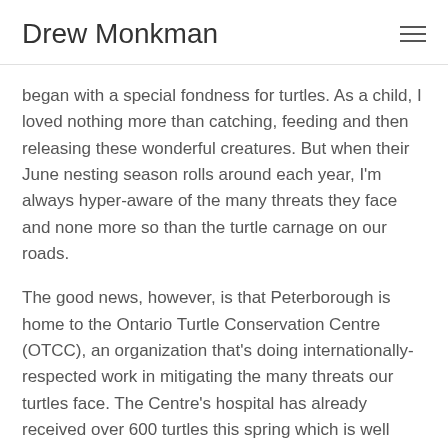Drew Monkman
began with a special fondness for turtles. As a child, I loved nothing more than catching, feeding and then releasing these wonderful creatures. But when their June nesting season rolls around each year, I'm always hyper-aware of the many threats they face and none more so than the turtle carnage on our roads.
The good news, however, is that Peterborough is home to the Ontario Turtle Conservation Centre (OTCC), an organization that's doing internationally-respected work in mitigating the many threats our turtles face. The Centre's hospital has already received over 600 turtles this spring which is well above any other year. As Executive and Medical Director, Dr. Susan Carstairs, told me this week, "It has been extremely challenging to keep on top of it all,